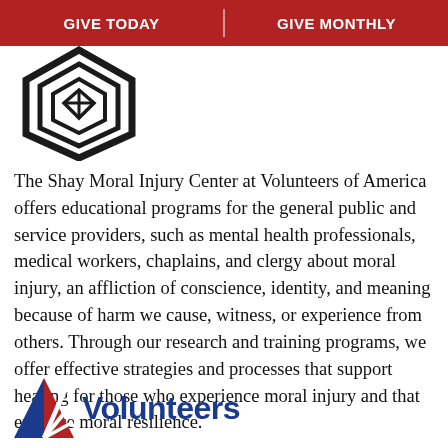GIVE TODAY | GIVE MONTHLY
[Figure (logo): Shay Moral Injury Center geometric hexagonal logo in black and white]
The Shay Moral Injury Center at Volunteers of America offers educational programs for the general public and service providers, such as mental health professionals, medical workers, chaplains, and clergy about moral injury, an affliction of conscience, identity, and meaning because of harm we cause, witness, or experience from others. Through our research and training programs, we offer effective strategies and processes that support healing for those who experience moral injury and that enhance moral resilience.
[Figure (logo): Volunteers of America logo with red/white striped V triangle and blue text reading 'Volunteers']